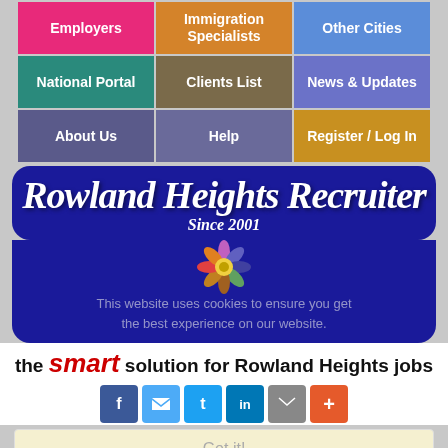[Figure (screenshot): Navigation menu grid with 9 colored cells: Employers (pink), Immigration Specialists (orange-teal), Other Cities (blue), National Portal (teal), Clients List (brown), News & Updates (purple), About Us (purple), Help (purple), Register/Log In (gold)]
Rowland Heights Recruiter Since 2001
This website uses cookies to ensure you get the best experience on our website.
the smart solution for Rowland Heights jobs
Got it!